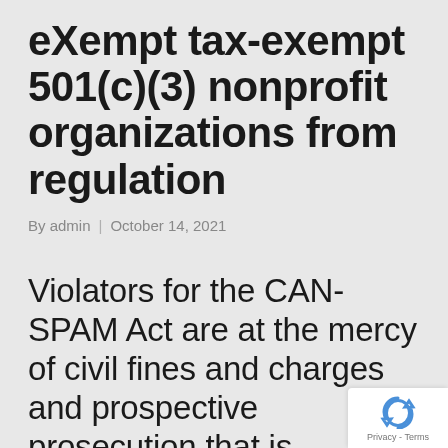eXempt tax-exempt 501(c)(3) nonprofit organizations from regulation
By admin | October 14, 2021
Violators for the CAN-SPAM Act are at the mercy of civil fines and charges and prospective prosecution that is
[Figure (logo): reCAPTCHA badge with recycling-arrow icon and 'Privacy - Terms' text]